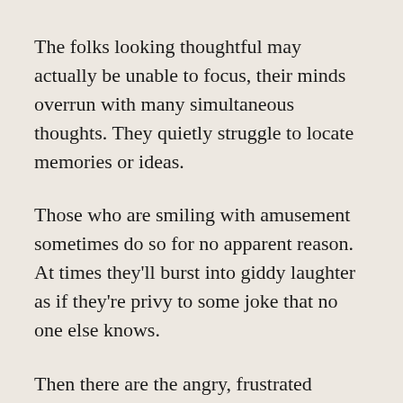The folks looking thoughtful may actually be unable to focus, their minds overrun with many simultaneous thoughts. They quietly struggle to locate memories or ideas.
Those who are smiling with amusement sometimes do so for no apparent reason. At times they'll burst into giddy laughter as if they're privy to some joke that no one else knows.
Then there are the angry, frustrated episodes as the patient lashes out with rage and profanity at everyone around them.
A blank stare can indicate that the person has momentarily disappeared deeper into the fog that